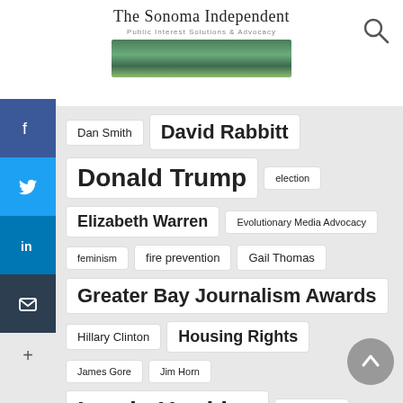The Sonoma Independent — Public Interest Solutions & Advocacy
Dan Smith
David Rabbitt
Donald Trump
election
Elizabeth Warren
Evolutionary Media Advocacy
feminism
fire prevention
Gail Thomas
Greater Bay Journalism Awards
Hillary Clinton
Housing Rights
James Gore
Jim Horn
Lynda Hopkins
Monsanto
Palm Drive Hospital